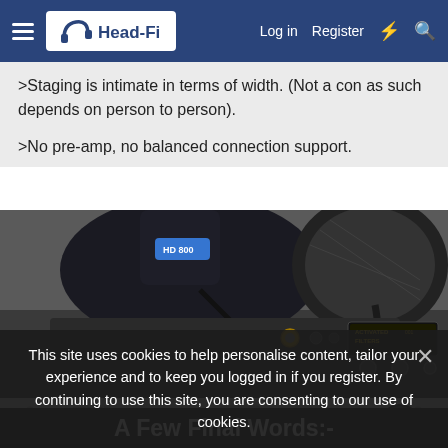Head-Fi | Log in | Register
>Staging is intimate in terms of width. (Not a con as such depends on person to person).
>No pre-amp, no balanced connection support.
[Figure (photo): Close-up photo of headphones resting on audio equipment including a headphone amplifier with OLED display showing 'ACTIVATED FILTERS' and audio jacks, and below a device labeled 'Anode Acoustics' with red and black binding posts and a large knob.]
This site uses cookies to help personalise content, tailor your experience and to keep you logged in if you register. By continuing to use this site, you are consenting to our use of cookies.
A Few Final Words:-